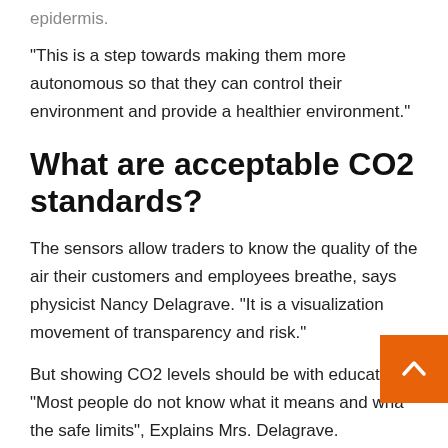epidermis.
“This is a step towards making them more autonomous so that they can control their environment and provide a healthier environment.”
What are acceptable CO2 standards?
The sensors allow traders to know the quality of the air their customers and employees breathe, says physicist Nancy Delagrave. “It is a visualization movement of transparency and risk.”
But showing CO2 levels should be with education. “Most people do not know what it means and what the safe limits”, Explains Mrs. Delagrave.
“Unfortunately, the instructions given to businesses